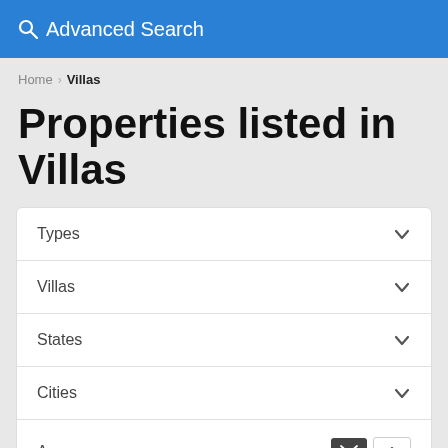Advanced Search
Home > Villas
Properties listed in Villas
Types
Villas
States
Cities
Areas
Default